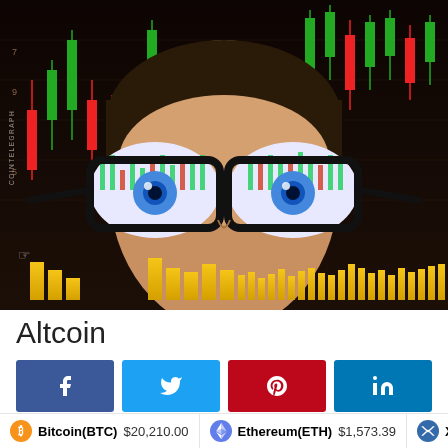[Figure (illustration): Anime-style illustration of a person wearing glasses with candlestick trading chart reflected in the lenses. Background shows a dark financial candlestick chart with green and red candles and yellow volume bars. Cointelegraph watermark on left side.]
Altcoin
[Figure (infographic): Social media sharing buttons row: Facebook (dark blue, f icon), Twitter (light blue, bird icon), Pinterest (red, p icon), LinkedIn (blue, in icon)]
Bitcoin(BTC) $20,210.00   Ethereum(ETH) $1,573.39   XRP